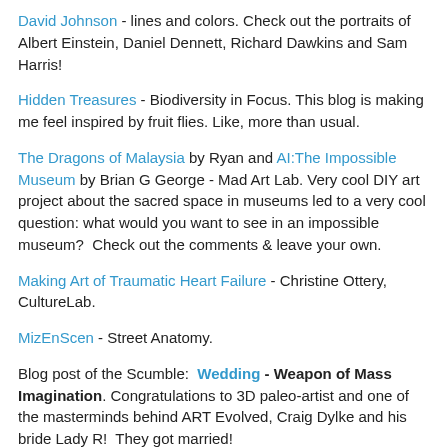David Johnson - lines and colors. Check out the portraits of Albert Einstein, Daniel Dennett, Richard Dawkins and Sam Harris!
Hidden Treasures - Biodiversity in Focus. This blog is making me feel inspired by fruit flies. Like, more than usual.
The Dragons of Malaysia by Ryan and AI:The Impossible Museum by Brian G George - Mad Art Lab. Very cool DIY art project about the sacred space in museums led to a very cool question: what would you want to see in an impossible museum?  Check out the comments & leave your own.
Making Art of Traumatic Heart Failure - Christine Ottery, CultureLab.
MizEnScen - Street Anatomy.
Blog post of the Scumble:  Wedding - Weapon of Mass Imagination. Congratulations to 3D paleo-artist and one of the masterminds behind ART Evolved, Craig Dylke and his bride Lady R!  They got married!